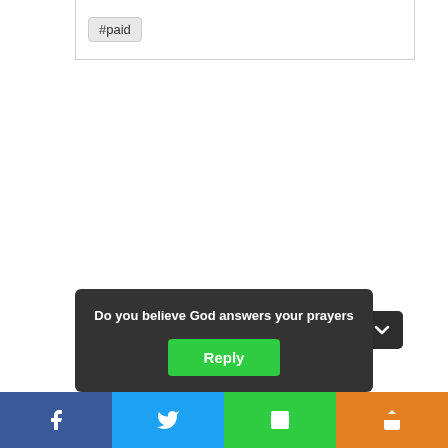#paid
Do you believe God answers your prayers
Reply